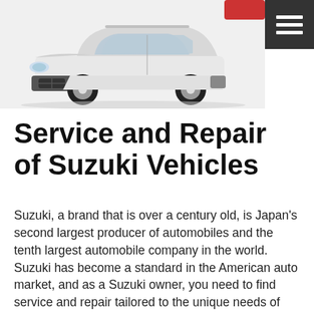[Figure (photo): White Suzuki SUV (Vitara or similar) photographed from a front-side angle on a white background]
Service and Repair of Suzuki Vehicles
Suzuki, a brand that is over a century old, is Japan’s second largest producer of automobiles and the tenth largest automobile company in the world. Suzuki has become a standard in the American auto market, and as a Suzuki owner, you need to find service and repair tailored to the unique needs of your foreign vehicle. We offer the best repair and service for Suzuki vehicles in the area thanks to our talented team and their years of experience. Whether you need routine maintenance or major